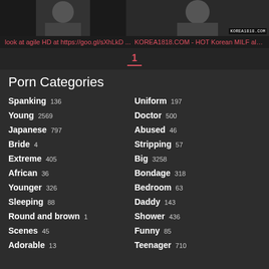[Figure (photo): Two thumbnail images at top: left shows a person, right shows a person with korea1818.com watermark]
look at agile HD at https://goo.gl/sXhLkD ... KOREA1818.COM - HOT Korean MILF all ro...
1
Porn Categories
Spanking 136
Uniform 197
Young 2569
Doctor 500
Japanese 797
Abused 46
Bride 4
Stripping 57
Extreme 405
Big 3258
African 36
Bondage 318
Younger 326
Bedroom 63
Sleeping 88
Daddy 143
Round and brown 1
Shower 436
Scenes 45
Funny 85
Adorable 13
Teenager 710